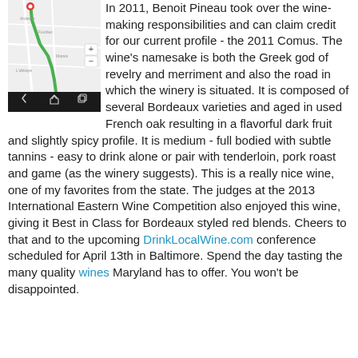[Figure (screenshot): A screenshot of a mobile map application showing a route on a map, with a black navigation bar at the bottom containing back, home, and recent apps icons.]
In 2011, Benoit Pineau took over the wine-making responsibilities and can claim credit for our current profile - the 2011 Comus. The wine's namesake is both the Greek god of revelry and merriment and also the road in which the winery is situated. It is composed of several Bordeaux varieties and aged in used French oak resulting in a flavorful dark fruit and slightly spicy profile. It is medium - full bodied with subtle tannins - easy to drink alone or pair with tenderloin, pork roast and game (as the winery suggests). This is a really nice wine, one of my favorites from the state. The judges at the 2013 International Eastern Wine Competition also enjoyed this wine, giving it Best in Class for Bordeaux styled red blends. Cheers to that and to the upcoming DrinkLocalWine.com conference scheduled for April 13th in Baltimore. Spend the day tasting the many quality wines Maryland has to offer. You won't be disappointed.